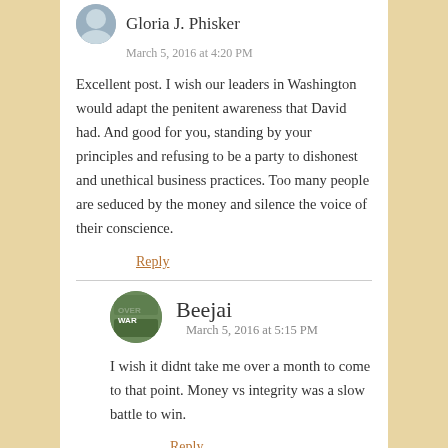Gloria J. Phisker
March 5, 2016 at 4:20 PM
Excellent post. I wish our leaders in Washington would adapt the penitent awareness that David had. And good for you, standing by your principles and refusing to be a party to dishonest and unethical business practices. Too many people are seduced by the money and silence the voice of their conscience.
Reply
Beejai  March 5, 2016 at 5:15 PM
I wish it didnt take me over a month to come to that point. Money vs integrity was a slow battle to win.
Reply